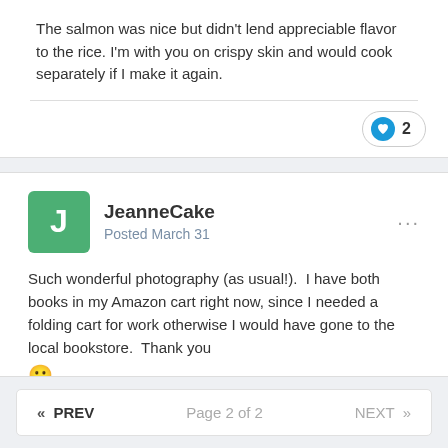The salmon was nice but didn't lend appreciable flavor to the rice. I'm with you on crispy skin and would cook separately if I make it again.
Such wonderful photography (as usual!).  I have both books in my Amazon cart right now, since I needed a folding cart for work otherwise I would have gone to the local bookstore.  Thank you 🙂
JeanneCake
Posted March 31
« PREV   Page 2 of 2   NEXT »